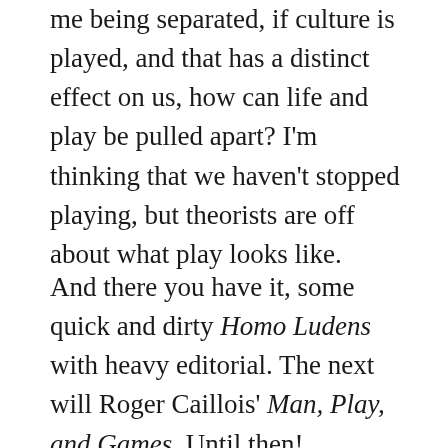me being separated, if culture is played, and that has a distinct effect on us, how can life and play be pulled apart? I'm thinking that we haven't stopped playing, but theorists are off about what play looks like.
And there you have it, some quick and dirty Homo Ludens with heavy editorial. The next will Roger Caillois' Man, Play, and Games. Until then!